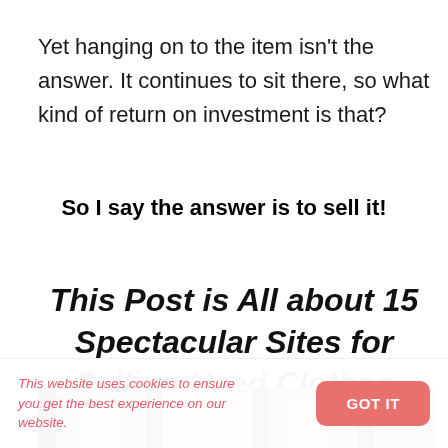Yet hanging on to the item isn't the answer. It continues to sit there, so what kind of return on investment is that?
So I say the answer is to sell it!
This Post is All about 15 Spectacular Sites for Selling Used Clothes
[Figure (photo): A strip of photos showing close-up images of clothing items or shoes being held, arranged in a collage-style horizontal strip.]
This website uses cookies to ensure you get the best experience on our website.